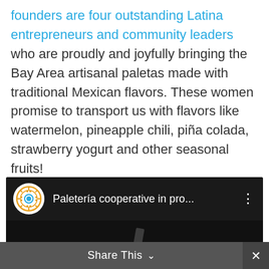founders are four outstanding Latina entrepreneurs and community leaders who are proudly and joyfully bringing the Bay Area artisanal paletas made with traditional Mexican flavors. These women promise to transport us with flavors like watermelon, pineapple chili, piña colada, strawberry yogurt and other seasonal fruits!
[Figure (screenshot): Embedded video thumbnail showing 'Paletería cooperative in pro...' with a circular logo icon featuring an aztec/mandala style design in orange/gold, on a dark background. A three-dot menu icon appears on the right.]
Share This ∨